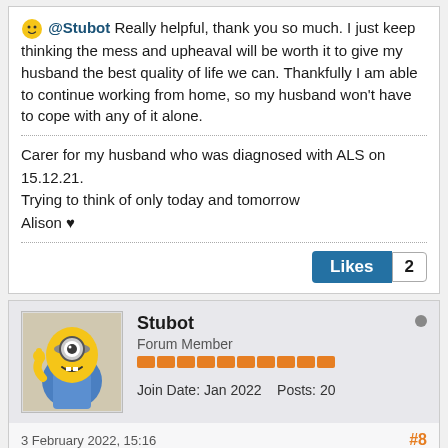@Stubot Really helpful, thank you so much. I just keep thinking the mess and upheaval will be worth it to give my husband the best quality of life we can. Thankfully I am able to continue working from home, so my husband won't have to cope with any of it alone.
Carer for my husband who was diagnosed with ALS on 15.12.21.
Trying to think of only today and tomorrow
Alison ♥
Likes 2
Stubot
Forum Member
Join Date: Jan 2022    Posts: 20
3 February 2022, 15:16
#8
@Doggymama - that was the view we took too. It's made a huge difference – not just for my wife, but for the